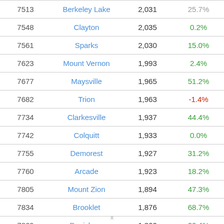| Rank | City | Population | Change |
| --- | --- | --- | --- |
| 7513 | Berkeley Lake | 2,031 | 25.7% |
| 7548 | Clayton | 2,035 | 0.2% |
| 7561 | Sparks | 2,030 | 15.0% |
| 7623 | Mount Vernon | 1,993 | 2.4% |
| 7677 | Maysville | 1,965 | 51.2% |
| 7682 | Trion | 1,963 | -1.4% |
| 7734 | Clarkesville | 1,937 | 44.4% |
| 7742 | Colquitt | 1,933 | 0.0% |
| 7755 | Demorest | 1,927 | 31.2% |
| 7760 | Arcade | 1,923 | 18.2% |
| 7805 | Mount Zion | 1,894 | 47.3% |
| 7834 | Brooklet | 1,876 | 68.7% |
| 7869 | Davisboro | 1,860 | 20.4% |
| 7??? | ... | 1,??? | ??% |
x